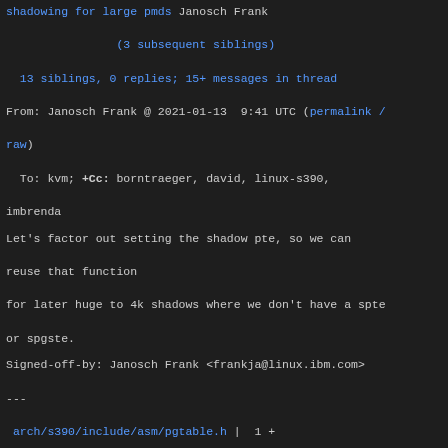shadowing for large pmds Janosch Frank
                (3 subsequent siblings)
  13 siblings, 0 replies; 15+ messages in thread
From: Janosch Frank @ 2021-01-13  9:41 UTC (permalink / raw)
  To: kvm; +Cc: borntraeger, david, linux-s390, imbrenda
Let's factor out setting the shadow pte, so we can reuse that function
for later huge to 4k shadows where we don't have a spte or spgste.
Signed-off-by: Janosch Frank <frankja@linux.ibm.com>
---
 arch/s390/include/asm/pgtable.h |  1 +
 arch/s390/mm/pgtable.c         | 24 +++++++++++++++++-
--------
 2 files changed, 17 insertions(+), 8 deletions(-)
diff --git a/arch/s390/include/asm/pgtable.h b/arch/s390/include/asm/pgtable.h
index 6d6ad508f9c7..d2c005f35c9c 100644
--- a/arch/s390/include/asm/pgtable.h
+++ b/arch/s390/include/asm/pgtable.h
@@ -1145,6 +1145,7 @@ void ptep_zap_unused(struct mm_struct *mm, unsigned long addr,
 void ptep_zap_key(struct mm_struct *mm, unsigned long addr, pte_t *ptep);
 int ptep_shadow_pte(struct mm_struct *mm, unsigned